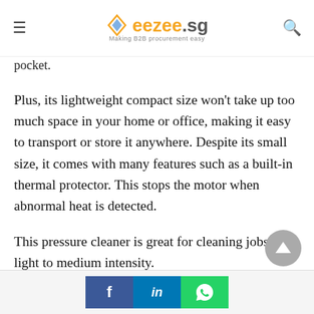eezee.sg — Making B2B procurement easy
pocket.
Plus, its lightweight compact size won't take up too much space in your home or office, making it easy to transport or store it anywhere. Despite its small size, it comes with many features such as a built-in thermal protector. This stops the motor when abnormal heat is detected.
This pressure cleaner is great for cleaning jobs of light to medium intensity.
Share buttons: Facebook, LinkedIn, WhatsApp